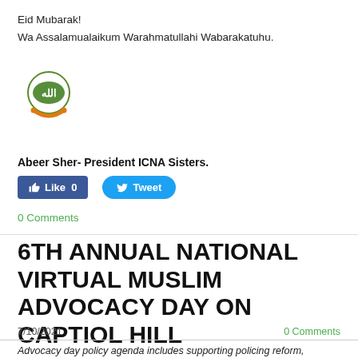Eid Mubarak!
Wa Assalamualaikum Warahmatullahi Wabarakatuhu.
[Figure (logo): ICNA Sisters logo: Arabic calligraphy in green circle with an orange crescent below]
Abeer Sher- President ICNA Sisters.
[Figure (other): Facebook Like button (blue, count 0) and Twitter Tweet button (blue rounded)]
0 Comments
6TH ANNUAL NATIONAL VIRTUAL MUSLIM ADVOCACY DAY ON CAPTIOL HILL
7/10/2021
0 Comments
Advocacy day policy agenda includes supporting policing reform, protecting voting rights, countering Islamophobia, and advancing human rights abroad